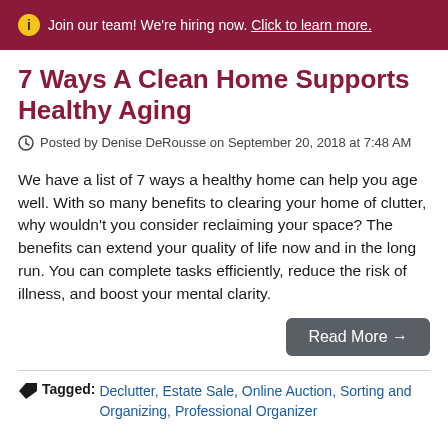ⓘ Join our team! We're hiring now. Click to learn more.
7 Ways A Clean Home Supports Healthy Aging
Posted by Denise DeRousse on September 20, 2018 at 7:48 AM
We have a list of 7 ways a healthy home can help you age well. With so many benefits to clearing your home of clutter, why wouldn't you consider reclaiming your space? The benefits can extend your quality of life now and in the long run. You can complete tasks efficiently, reduce the risk of illness, and boost your mental clarity.
Read More →
Tagged: Declutter, Estate Sale, Online Auction, Sorting and Organizing, Professional Organizer